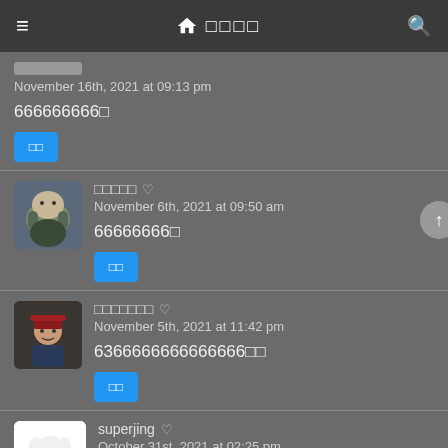≡  🏠 □□□□  🔍
November 16th, 2021 at 09:13 pm
666666666□
□□  (reaction button)
□□□□□ ♡
November 6th, 2021 at 09:50 am
66666666□
□□  (reaction button)
□□□□□□□ ♡
November 5th, 2021 at 11:42 pm
6366666666666666□□
□□  (reaction button)
superjing ♡
October 31st, 2021 at 02:25 pm